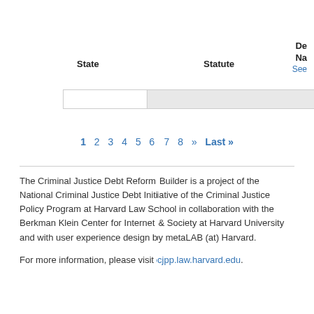| State | Statute | De Na See |
| --- | --- | --- |
|  |  |  |
1 2 3 4 5 6 7 8 » Last»
The Criminal Justice Debt Reform Builder is a project of the National Criminal Justice Debt Initiative of the Criminal Justice Policy Program at Harvard Law School in collaboration with the Berkman Klein Center for Internet & Society at Harvard University and with user experience design by metaLAB (at) Harvard.
For more information, please visit cjpp.law.harvard.edu.